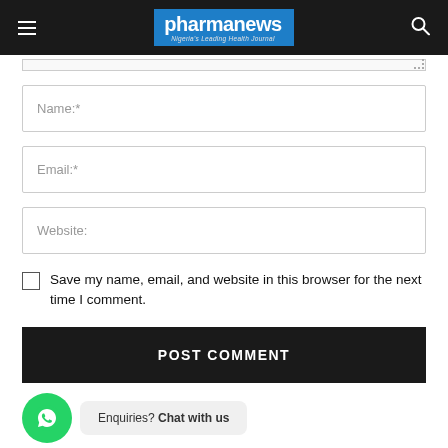pharmanews — Nigeria's Leading Health Journal
Name:*
Email:*
Website:
Save my name, email, and website in this browser for the next time I comment.
POST COMMENT
Enquiries? Chat with us
Latest Posts